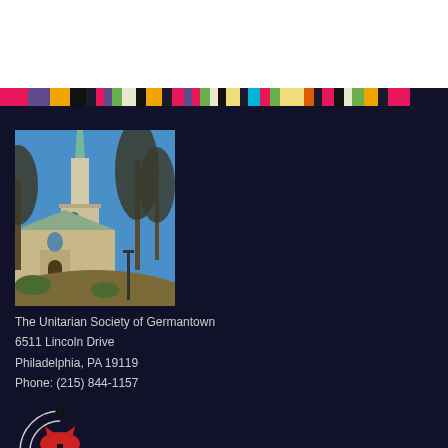[Figure (photo): White header background area at the top of the page]
[Figure (infographic): Horizontal multicolored stripe bar with repeating colored rectangles: pink, purple, orange, black, dark, multicolor, green, cream, black, yellow, dark, red, teal, green, yellow, yellow, red, dark, cream, multicolor, orange, dark, red]
[Figure (photo): Photograph of The Unitarian Society of Germantown building, a stone church with a tall steeple and barren winter trees against a blue sky]
The Unitarian Society of Germantown
6511 Lincoln Drive
Philadelphia, PA 19119
Phone: (215) 844-1157
[Figure (logo): Partial view of the Unitarian Universalist Association (UUA) logo showing a chalice symbol in black and red with circular arc lines]